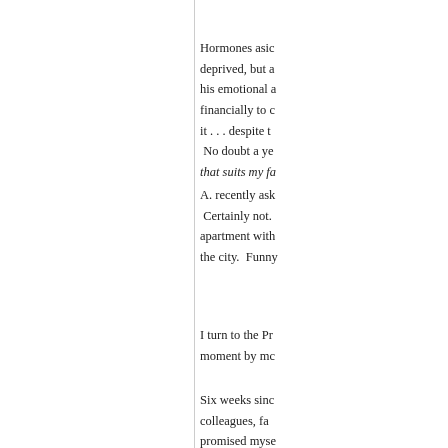Hormones aside, deprived, but a his emotional a financially to c it . . . despite t No doubt a ye that suits my fa
A. recently ask Certainly not. apartment with the city.  Funny
I turn to the Pr moment by mo
Six weeks sinc colleagues, fa promised myse obsessed with time for anythi spare minute c